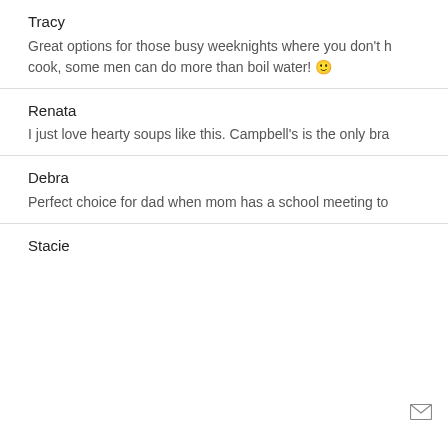Tracy
Great options for those busy weeknights where you don't h... cook, some men can do more than boil water! 🙂
Renata
I just love hearty soups like this. Campbell's is the only bra...
Debra
Perfect choice for dad when mom has a school meeting to...
Stacie